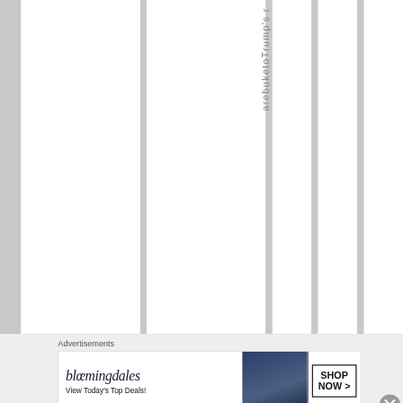arebuketoTrump's r
Advertisements
[Figure (illustration): Bloomingdales advertisement banner: logo text 'bloomingdales', tagline 'View Today's Top Deals!', image of woman in wide-brim hat, 'SHOP NOW >' button]